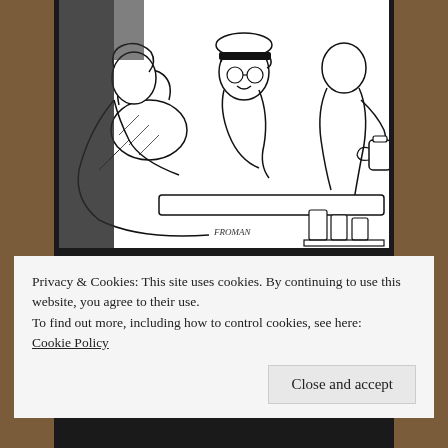[Figure (illustration): Black and white line drawing/cartoon showing several people seated, appearing to be in a diner or restaurant scene. A waitress or server figure is visible on the right holding what appears to be a coffee pot. Other figures are seated and appear to be in conversation.]
Taking health as the shining example of commerce, quotas assure only a limited number of individuals can be “sick” for any given period. When the quota is exceeded, who is going to pay for it? Remember all money is
Privacy & Cookies: This site uses cookies. By continuing to use this website, you agree to their use.
To find out more, including how to control cookies, see here:
Cookie Policy
Close and accept